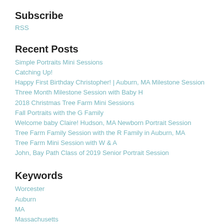Subscribe
RSS
Recent Posts
Simple Portraits Mini Sessions
Catching Up!
Happy First Birthday Christopher! | Auburn, MA Milestone Session
Three Month Milestone Session with Baby H
2018 Christmas Tree Farm Mini Sessions
Fall Portraits with the G Family
Welcome baby Claire! Hudson, MA Newborn Portrait Session
Tree Farm Family Session with the R Family in Auburn, MA
Tree Farm Mini Session with W & A
John, Bay Path Class of 2019 Senior Portrait Session
Keywords
Worcester
Auburn
MA
Massachusetts